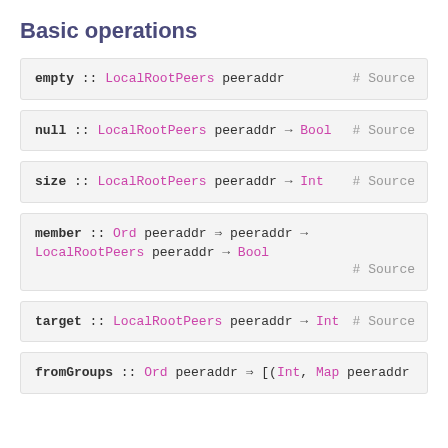Basic operations
empty :: LocalRootPeers peeraddr  # Source
null :: LocalRootPeers peeraddr → Bool  # Source
size :: LocalRootPeers peeraddr → Int  # Source
member :: Ord peeraddr ⇒ peeraddr → LocalRootPeers peeraddr → Bool  # Source
target :: LocalRootPeers peeraddr → Int  # Source
fromGroups :: Ord peeraddr ⇒ [(Int, Map peeraddr